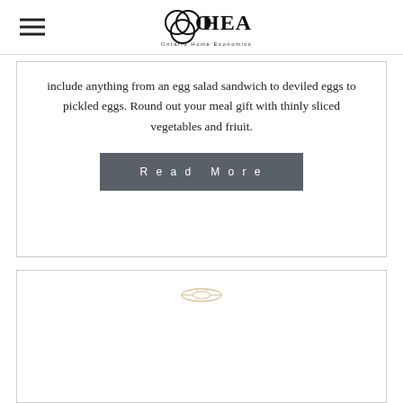OHEA - Ontario Home Economics Association
include anything from an egg salad sandwich to deviled eggs to pickled eggs. Round out your meal gift with thinly sliced vegetables and friuit.
[Figure (other): Read More button - grey rectangular button with white text 'Read More' in spaced caps]
[Figure (other): White card with a small egg/oval decorative icon near the top center]